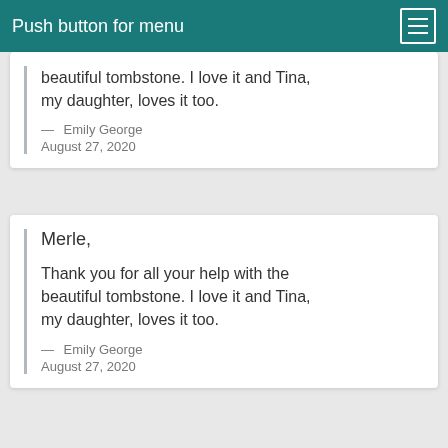Push button for menu
beautiful tombstone. I love it and Tina, my daughter, loves it too.
— Emily George
August 27, 2020
Merle,

Thank you for all your help with the beautiful tombstone. I love it and Tina, my daughter, loves it too.
— Emily George
August 27, 2020